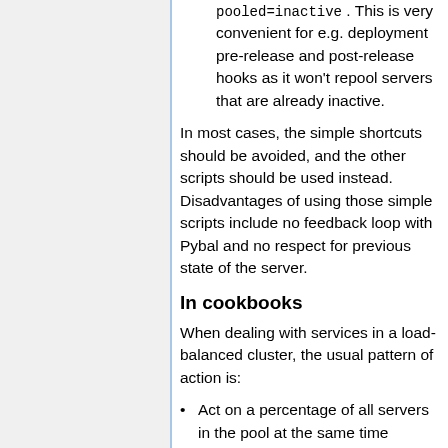pooled=inactive . This is very convenient for e.g. deployment pre-release and post-release hooks as it won't repool servers that are already inactive.
In most cases, the simple shortcuts should be avoided, and the other scripts should be used instead. Disadvantages of using those simple scripts include no feedback loop with Pybal and no respect for previous state of the server.
In cookbooks
When dealing with services in a load-balanced cluster, the usual pattern of action is:
Act on a percentage of all servers in the pool at the same time
Depool all services that were pooled